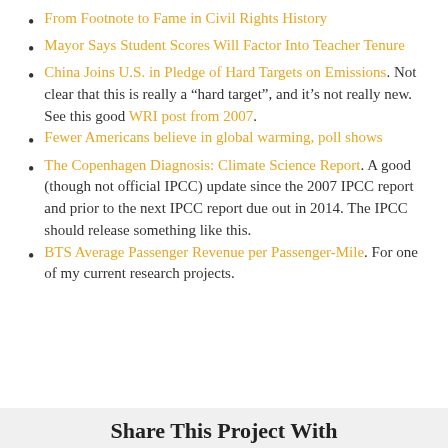From Footnote to Fame in Civil Rights History
Mayor Says Student Scores Will Factor Into Teacher Tenure
China Joins U.S. in Pledge of Hard Targets on Emissions. Not clear that this is really a “hard target”, and it’s not really new. See this good WRI post from 2007.
Fewer Americans believe in global warming, poll shows
The Copenhagen Diagnosis: Climate Science Report. A good (though not official IPCC) update since the 2007 IPCC report and prior to the next IPCC report due out in 2014. The IPCC should release something like this.
BTS Average Passenger Revenue per Passenger-Mile. For one of my current research projects.
Share This Project With